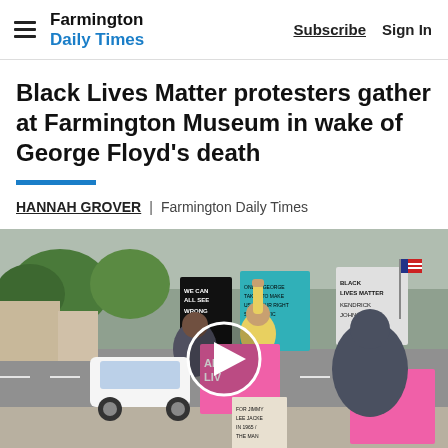Farmington Daily Times | Subscribe  Sign In
Black Lives Matter protesters gather at Farmington Museum in wake of George Floyd's death
HANNAH GROVER | Farmington Daily Times
[Figure (photo): Protesters holding signs including 'Black Lives Matter', 'All Lives Matter', 'I Can't Breathe', and others, gathered on a roadside. A woman in yellow raises her fist. Cars visible on the street. Video play button overlaid on image.]